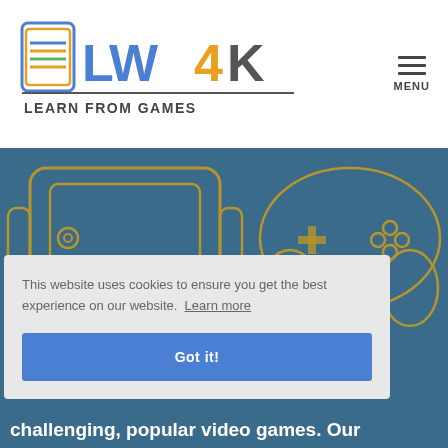[Figure (logo): LW4K - Learn From Games logo with colorful book/phone icon and text]
[Figure (illustration): Menu hamburger icon with MENU text]
[Figure (illustration): Blue background section with gold outline illustrations of handheld game device and game controller]
This website uses cookies to ensure you get the best experience on our website.  Learn more
Got it!
challenging, popular video games. Our